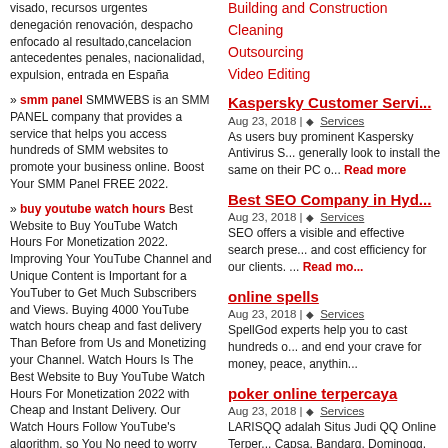visado, recursos urgentes denegación renovación, despacho enfocado al resultado,cancelacion antecedentes penales, nacionalidad, expulsion, entrada en España
» smm panel SMMWEBS is an SMM PANEL company that provides a service that helps you access hundreds of SMM websites to promote your business online. Boost Your SMM Panel FREE 2022.
» buy youtube watch hours Best Website to Buy YouTube Watch Hours For Monetization 2022. Improving Your YouTube Channel and Unique Content is Important for a YouTuber to Get Much Subscribers and Views. Buying 4000 YouTube watch hours cheap and fast delivery Than Before from Us and Monetizing your Channel. Watch Hours Is The Best Website to Buy YouTube Watch Hours For Monetization 2022 with Cheap and Instant Delivery. Our Watch Hours Follow YouTube's algorithm, so You No need to worry about Your Channel. Just Place Order and Enjoy Our Services.
» Best SMM Panel PEAKERR SMM Panel Services is The Best in 2022 will help you succeed in social media by providing the cheapest Instagram panels, Facebook panels, TikTok Panels, and YouTube Panels.
» Massachusetts License Suspension Lawyer Attorney Brian Simoneau has
Building and Construction
Cleaning
Outsourcing
Video Editing
Kaspersky Customer Servi...
Aug 23, 2018 | ◇  Services
As users buy prominent Kaspersky Antivirus S... generally look to install the same on their PC o... Read more
Best SEO Company in Hyd...
Aug 23, 2018 | ◇  Services
SEO offers a visible and effective search prese... and cost efficiency for our clients. ... Read mo...
online spells
Aug 23, 2018 | ◇  Services
SpellGod experts help you to cast hundreds o... and end your crave for money, peace, anythin...
poker online terpercaya
Aug 23, 2018 | ◇  Services
LARISQQ adalah Situs Judi QQ Online Terper... Capsa, Bandarq, Dominoqq, Domino Online. ...
business coach london uk...